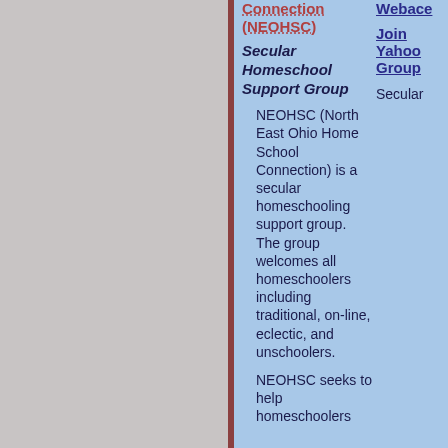Connection (NEOHSC)
Secular Homeschool Support Group
NEOHSC (North East Ohio Home School Connection) is a secular homeschooling support group. The group welcomes all homeschoolers including traditional, on-line, eclectic, and unschoolers.
NEOHSC seeks to help homeschoolers
Webace
Join Yahoo Group
Secular